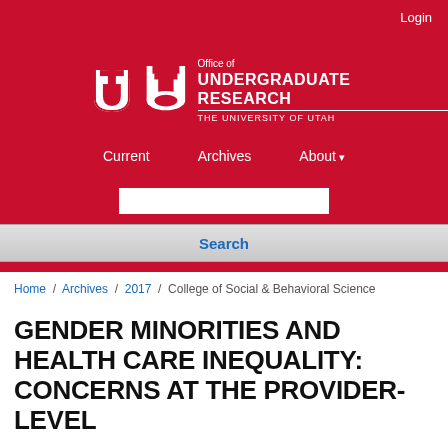Login
[Figure (logo): Office of Undergraduate Research, The University of Utah logo with block U symbol on red background]
Current   Archives   About
Search
Home / Archives / 2017 / College of Social & Behavioral Science
GENDER MINORITIES AND HEALTH CARE INEQUALITY: CONCERNS AT THE PROVIDER-LEVEL